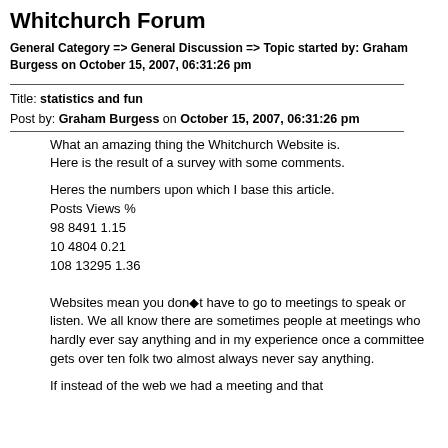Whitchurch Forum
General Category => General Discussion => Topic started by: Graham Burgess on October 15, 2007, 06:31:26 pm
Title: statistics and fun
Post by: Graham Burgess on October 15, 2007, 06:31:26 pm
What an amazing thing the Whitchurch Website is. Here is the result of a survey with some comments.

Heres the numbers upon which I base this article.
Posts Views %
98 8491 1.15
10 4804 0.21
108 13295 1.36
Websites mean you don�t have to go to meetings to speak or listen. We all know there are sometimes people at meetings who hardly ever say anything and in my experience once a committee gets over ten folk two almost always never say anything.
If instead of the web we had a meeting and that